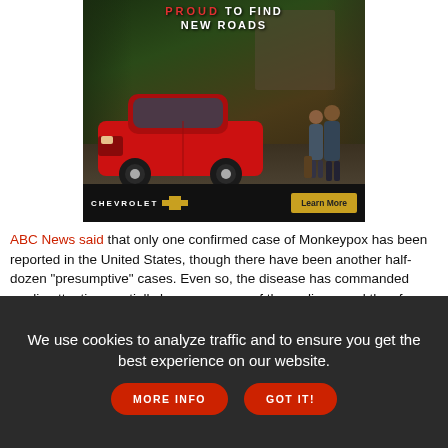[Figure (photo): Chevrolet advertisement showing a red SUV parked in a driveway with two people standing nearby and a house in the background. Text reads 'PROUD TO FIND NEW ROADS'. Bottom bar shows Chevrolet logo with bowtie emblem and a gold 'Learn More' button.]
ABC News said that only one confirmed case of Monkeypox has been reported in the United States, though there have been another half-dozen "presumptive" cases. Even so, the disease has commanded media attention, partially because many of those diagnosed thus far belong to the gay or bisexual communities.
[Figure (photo): Partial thumbnail strip visible at bottom of article area]
We use cookies to analyze traffic and to ensure you get the best experience on our website. MORE INFO GOT IT!